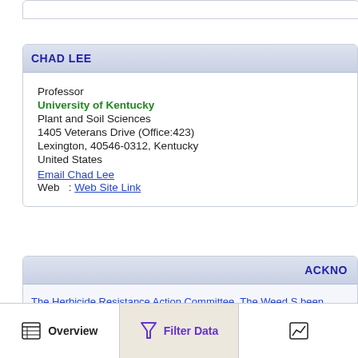CHAD LEE
Professor
University of Kentucky
Plant and Soil Sciences
1405 Veterans Drive (Office:423)
Lexington, 40546-0312, Kentucky
United States
Email Chad Lee
Web   : Web Site Link
ACKNO
The Herbicide Resistance Action Committee, The Weed S been instrumental in providing you this information. Partic for providing detailed information.
Overview   Filter Data